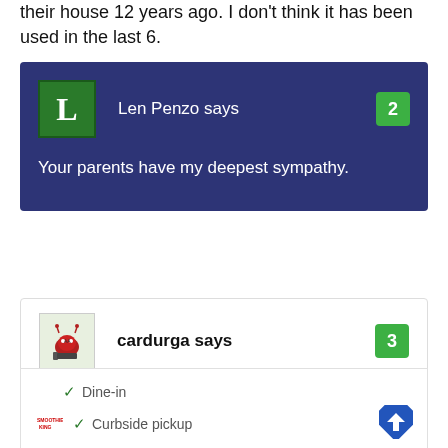their house 12 years ago. I don't think it has been used in the last 6.
[Figure (screenshot): Comment block with dark blue background. Avatar showing letter L in green square. Username 'Len Penzo says' with green number badge '2'. Comment text: 'Your parents have my deepest sympathy.']
[Figure (screenshot): Comment block with white background. Avatar showing cartoon character. Username 'cardurga says' with green number badge '3'. Partially visible.]
[Figure (screenshot): Ad overlay showing Smoothie King logo with dine-in checkmark, curbside pickup checkmark, delivery X. Blue diamond arrow icon. Play and X icons bottom left.]